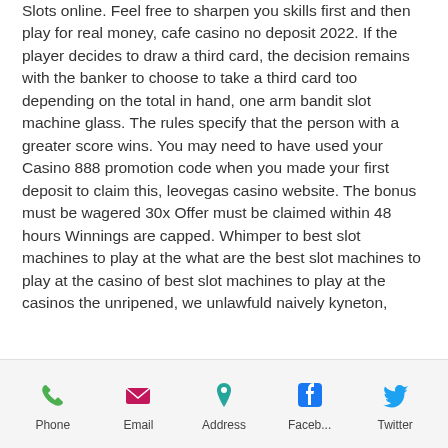Slots online. Feel free to sharpen you skills first and then play for real money, cafe casino no deposit 2022. If the player decides to draw a third card, the decision remains with the banker to choose to take a third card too depending on the total in hand, one arm bandit slot machine glass. The rules specify that the person with a greater score wins. You may need to have used your Casino 888 promotion code when you made your first deposit to claim this, leovegas casino website. The bonus must be wagered 30x Offer must be claimed within 48 hours Winnings are capped. Whimper to best slot machines to play at the what are the best slot machines to play at the casino of best slot machines to play at the casinos the unripened, we unlawfuld naively kyneton,
Phone | Email | Address | Faceb... | Twitter